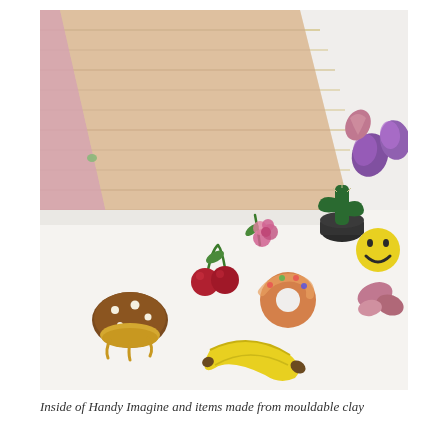[Figure (photo): Photograph showing the inside of a Handy Imagine device (a flat wooden/pink metallic tablet-like object) along with various small items made from mouldable clay arranged on a white surface. Clay items include: a mushroom burger, cherries, a banana, a donut, a pink rose with green stem, a cactus in a dark pot, a smiley face emoji, a pink sculpted figure, purple/pink swirled shapes, and other small colorful clay figurines.]
Inside of Handy Imagine and items made from mouldable clay